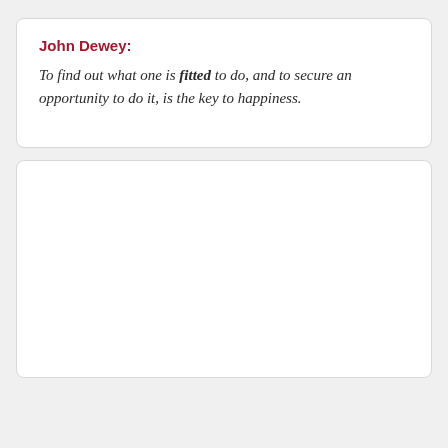John Dewey: To find out what one is fitted to do, and to secure an opportunity to do it, is the key to happiness.